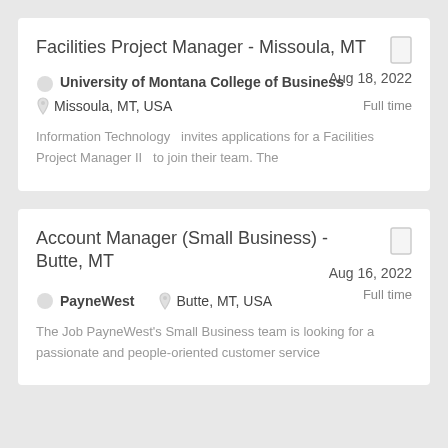Facilities Project Manager - Missoula, MT
Aug 18, 2022
Full time
University of Montana College of Business
Missoula, MT, USA
Information Technology  invites applications for a Facilities Project Manager II  to join their team. The
Account Manager (Small Business) - Butte, MT
Aug 16, 2022
Full time
PayneWest
Butte, MT, USA
The Job PayneWest's Small Business team is looking for a passionate and people-oriented customer service